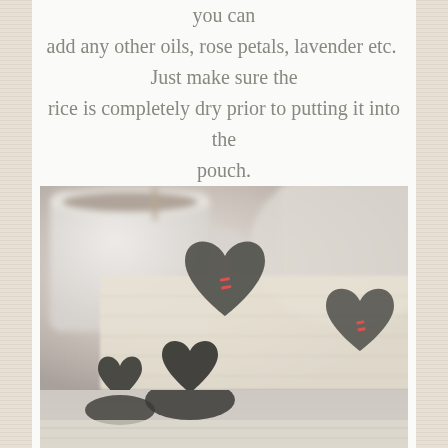you can add any other oils, rose petals, lavender etc.  Just make sure the rice is completely dry prior to putting it into the pouch.
[Figure (photo): Close-up photo of small grey felt heart-shaped pouches with red stitching, resting on a cream knitted textile, with a white mug in the blurred background]
[Figure (photo): Bottom portion of the same scene, showing additional grey felt hearts and cream textured fabric]